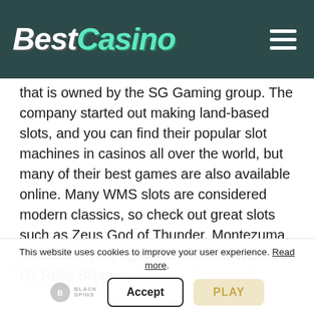BestCasino
that is owned by the SG Gaming group. The company started out making land-based slots, and you can find their popular slot machines in casinos all over the world, but many of their best games are also available online. Many WMS slots are considered modern classics, so check out great slots such as Zeus God of Thunder, Montezuma, Spartacus, Raging Rhino and The Wizard of Oz Ruby Slippers.
ELK Studios: If you are looking for a new slot experience, make sure to check out
This website uses cookies to improve your user experience. Read more.